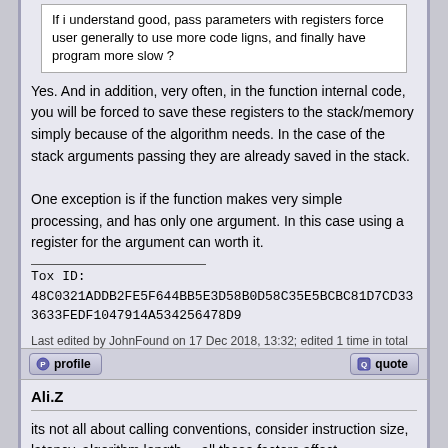If i understand good, pass parameters with registers force user generally to use more code ligns, and finally have program more slow ?
Yes. And in addition, very often, in the function internal code, you will be forced to save these registers to the stack/memory simply because of the algorithm needs. In the case of the stack arguments passing they are already saved in the stack.

One exception is if the function makes very simple processing, and has only one argument. In this case using a register for the argument can worth it.
Tox ID: 48C0321ADDB2FE5F644BB5E3D58B0D58C35E5BCBC81D7CD333633FEDF1047914A534256478D9
Last edited by JohnFound on 17 Dec 2018, 13:32; edited 1 time in total
Ali.Z
its not all about calling conventions, consider instruction size, latency, algorithm length ... all these factors affect.